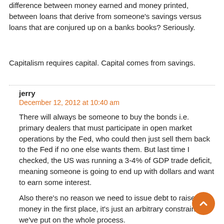difference between money earned and money printed, between loans that derive from someone's savings versus loans that are conjured up on a banks books? Seriously.
Capitalism requires capital. Capital comes from savings.
jerry
December 12, 2012 at 10:40 am
There will always be someone to buy the bonds i.e. primary dealers that must participate in open market operations by the Fed, who could then just sell them back to the Fed if no one else wants them. But last time I checked, the US was running a 3-4% of GDP trade deficit, meaning someone is going to end up with dollars and want to earn some interest.
Also there's no reason we need to issue debt to raise money in the first place, it's just an arbitrary constraint we've put on the whole process.
What difference does it make if the savings comes from government spending or from the banking cartel with interest attached? I really don't see the US as suffering from a lack of capital.